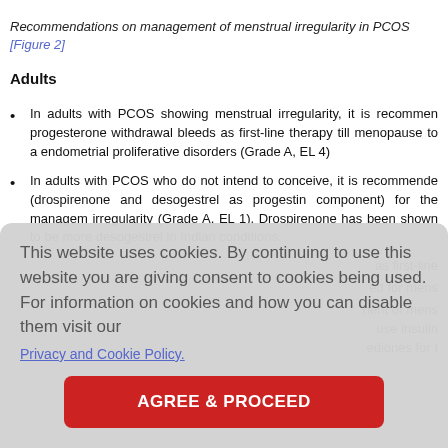Recommendations on management of menstrual irregularity in PCOS [Figure 2]
Adults
In adults with PCOS showing menstrual irregularity, it is recommended progesterone withdrawal bleeds as first-line therapy till menopause to avoid endometrial proliferative disorders (Grade A, EL 4)
In adults with PCOS who do not intend to conceive, it is recommended (drospirenone and desogestrel as progestin component) for the management of irregularity (Grade A, EL 1). Drospirenone has been shown to be more than desogestrel in Indian conditions.
as first-line
ed for mens
nent of mens use insulin ediones for t
This website uses cookies. By continuing to use this website you are giving consent to cookies being used. For information on cookies and how you can disable them visit our
Privacy and Cookie Policy.
AGREE & PROCEED